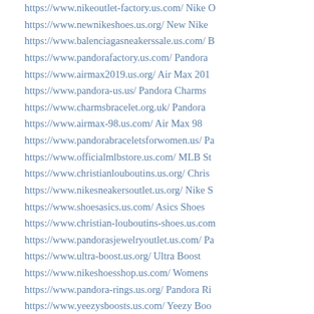https://www.nikeoutlet-factory.us.com/ Nike O
https://www.newnikeshoes.us.org/ New Nike
https://www.balenciagasneakerssale.us.com/ B
https://www.pandorafactory.us.com/ Pandora
https://www.airmax2019.us.org/ Air Max 201
https://www.pandora-us.us/ Pandora Charms
https://www.charmsbracelet.org.uk/ Pandora
https://www.airmax-98.us.com/ Air Max 98
https://www.pandorabraceletsforwomen.us/ Pa
https://www.officialmlbstore.us.com/ MLB St
https://www.christianlouboutins.us.org/ Chris
https://www.nikesneakersoutlet.us.org/ Nike S
https://www.shoesasics.us.com/ Asics Shoes
https://www.christian-louboutins-shoes.us.com
https://www.pandorasjewelryoutlet.us.com/ Pa
https://www.ultra-boost.us.org/ Ultra Boost
https://www.nikeshoesshop.us.com/ Womens
https://www.pandora-rings.us.org/ Pandora Ri
https://www.yeezysboosts.us.com/ Yeezy Boo
https://www.christianlouboutins-outlet.us.com
https://www.nike-presto.us.com/ Nike Presto
https://www.pandoracharmssales.us.com/ Pan